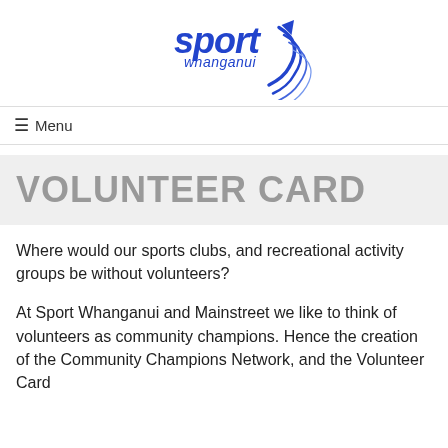[Figure (logo): Sport Whanganui logo in blue with stylized text and swoosh graphic]
≡ Menu
VOLUNTEER CARD
Where would our sports clubs, and recreational activity groups be without volunteers?
At Sport Whanganui and Mainstreet we like to think of volunteers as community champions. Hence the creation of the Community Champions Network, and the Volunteer Card